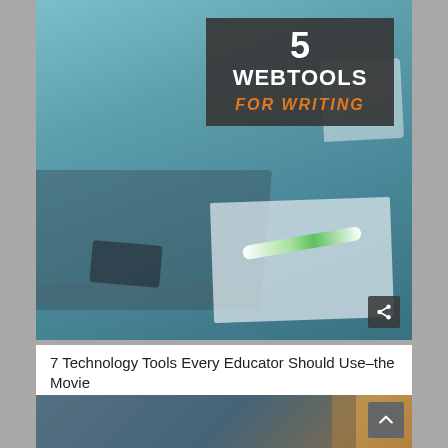[Figure (photo): Photo of a laptop keyboard, open notebook with a green pen, and a book on a desk, with a dark overlay box showing '5 WEBTOOLS FOR WRITING' text in white and orange]
7 Technology Tools Every Educator Should Use–the Movie
[Figure (photo): Partial view of people using tablets, bottom strip image]